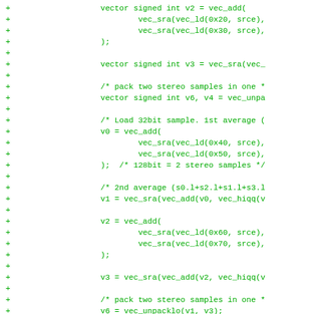Diff/patch code listing showing vector arithmetic operations in C with SIMD intrinsics (vec_add, vec_sra, vec_ld, vec_unpa, vec_hiqq, vec_sra, vec_unpacklo, vec_st, vec_packs)